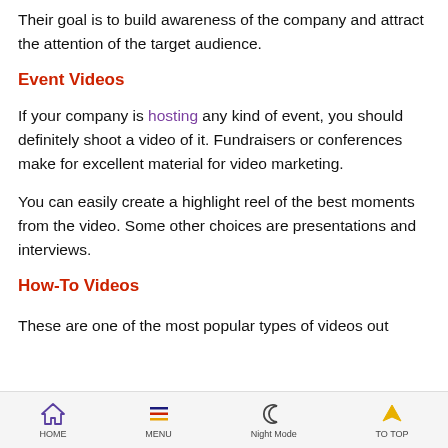Their goal is to build awareness of the company and attract the attention of the target audience.
Event Videos
If your company is hosting any kind of event, you should definitely shoot a video of it. Fundraisers or conferences make for excellent material for video marketing.
You can easily create a highlight reel of the best moments from the video. Some other choices are presentations and interviews.
How-To Videos
These are one of the most popular types of videos out
HOME   MENU   Night Mode   TO TOP